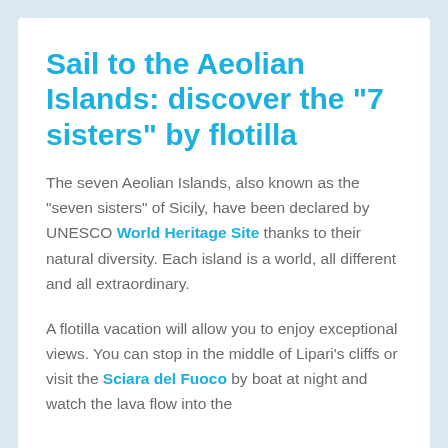Sail to the Aeolian Islands: discover the "7 sisters" by flotilla
The seven Aeolian Islands, also known as the "seven sisters" of Sicily, have been declared by UNESCO World Heritage Site thanks to their natural diversity. Each island is a world, all different and all extraordinary.
A flotilla vacation will allow you to enjoy exceptional views. You can stop in the middle of Lipari's cliffs or visit the Sciara del Fuoco by boat at night and watch the lava flow into the